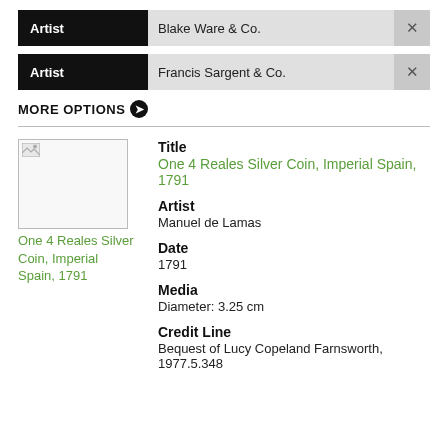Artist: Blake Ware & Co.
Artist: Francis Sargent & Co.
MORE OPTIONS
[Figure (illustration): Broken image placeholder for One 4 Reales Silver Coin, Imperial Spain, 1791]
One 4 Reales Silver Coin, Imperial Spain, 1791
Title
One 4 Reales Silver Coin, Imperial Spain, 1791
Artist
Manuel de Lamas
Date
1791
Media
Diameter: 3.25 cm
Credit Line
Bequest of Lucy Copeland Farnsworth, 1977.5.348